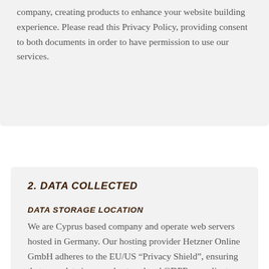company, creating products to enhance your website building experience. Please read this Privacy Policy, providing consent to both documents in order to have permission to use our services.
2. DATA COLLECTED
DATA STORAGE LOCATION
We are Cyprus based company and operate web servers hosted in Germany. Our hosting provider Hetzner Online GmbH adheres to the EU/US “Privacy Shield”, ensuring that your data is securely stored and GDPR compliant.